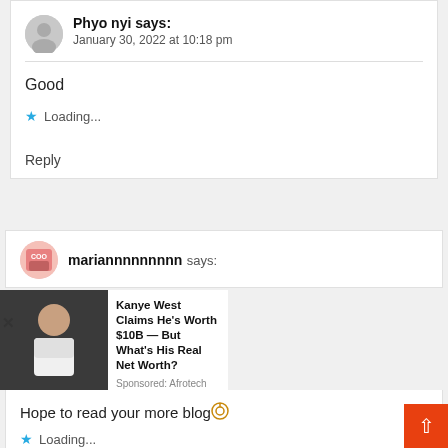Phyo nyi says: January 30, 2022 at 10:18 pm
Good
Loading...
Reply
mariannnnnnnnn says:
[Figure (photo): Advertisement overlay: Kanye West photo with ad text 'Kanye West Claims He's Worth $10B — But What's His Real Net Worth?' Sponsored: Afrotech]
Hope to read your more blog
Loading...